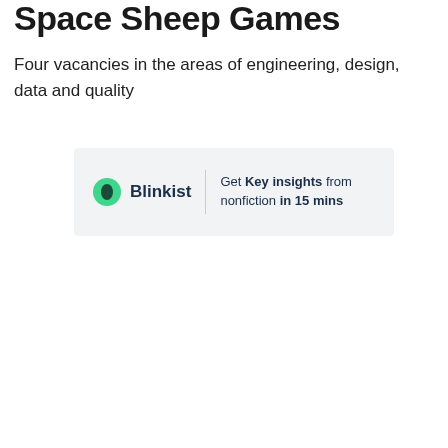Space Sheep Games
Four vacancies in the areas of engineering, design, data and quality
[Figure (other): Blinkist advertisement banner with logo and text: Get Key insights from nonfiction in 15 mins]